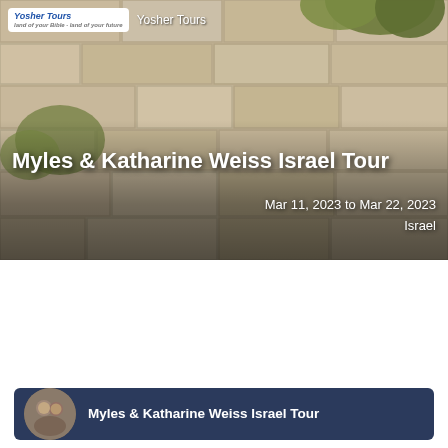[Figure (photo): Hero banner showing the Western Wall (Kotel) in Jerusalem with stone blocks and green plants/weeds growing from the crevices. A logo for Yosher Tours appears in the top left.]
Yosher Tours
Myles & Katharine Weiss Israel Tour
Mar 11, 2023 to Mar 22, 2023
Israel
Join us as we explore the Holy Land of Israel!
[Figure (screenshot): Video thumbnail card with dark blue background showing a circular avatar photo of two people (Myles and Katharine Weiss) and the text 'Myles & Katharine Weiss Israel Tour']